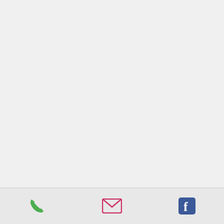introducing this amazing process into my life.
Bigger and better things to follow........:)
Roberta
June 2012
Wayne, today 16 Dec. 2012 I have quit smoking for one year. And never thought about it more than a nano-second. Fleeting. Thank you! Now what to do about nail-biting??
Larry
I wanted to quite smoking and had tried most everything. I saw an article in the paper about HYPNOSIS and how it works for quitting smoking. I decided to call. I met with Wayne
phone | email | facebook